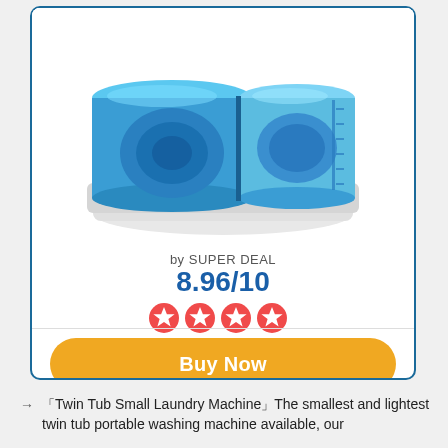[Figure (photo): Blue and white twin tub portable mini washing machine product photo, cropped showing top portion of appliance]
by SUPER DEAL
8.96/10
[Figure (other): Four red star rating icons]
Buy Now
「Twin Tub Small Laundry Machine」The smallest and lightest twin tub portable washing machine available, our